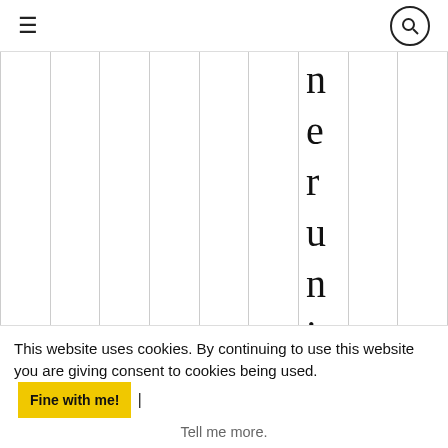≡ [search icon]
[Figure (other): Grid of vertical columns with vertical text spelling 'n e r u n i v e r s i t' reading top to bottom]
This website uses cookies. By continuing to use this website you are giving consent to cookies being used. Fine with me! | Tell me more.